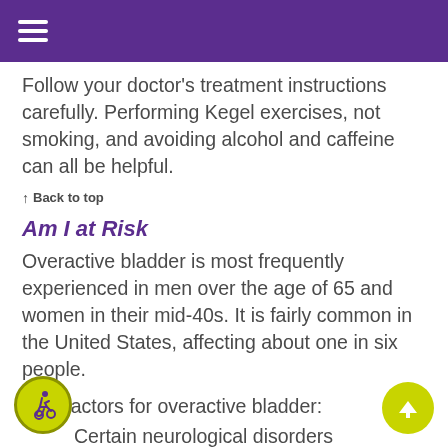Follow your doctor's treatment instructions carefully.  Performing Kegel exercises, not smoking, and avoiding alcohol and caffeine can all be helpful.
↑ Back to top
Am I at Risk
Overactive bladder is most frequently experienced in men over the age of 65 and women in their mid-40s.  It is fairly common in the United States, affecting about one in six people.
Risk factors for overactive bladder:
Certain neurological disorders
Diabetes